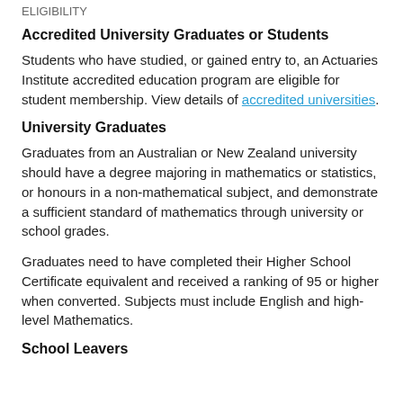ELIGIBILITY
Accredited University Graduates or Students
Students who have studied, or gained entry to, an Actuaries Institute accredited education program are eligible for student membership. View details of accredited universities.
University Graduates
Graduates from an Australian or New Zealand university should have a degree majoring in mathematics or statistics, or honours in a non-mathematical subject, and demonstrate a sufficient standard of mathematics through university or school grades.
Graduates need to have completed their Higher School Certificate equivalent and received a ranking of 95 or higher when converted. Subjects must include English and high-level Mathematics.
School Leavers